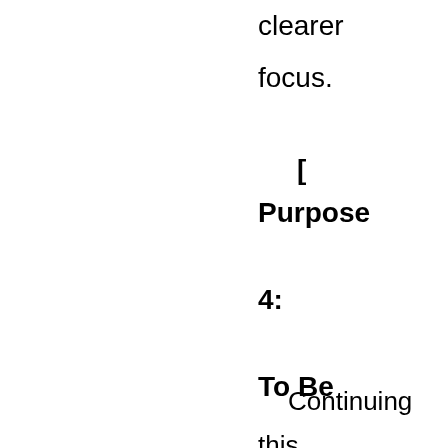clearer focus.
[ Purpose 4: To Be Perfected in Jesus ]
Continuing this